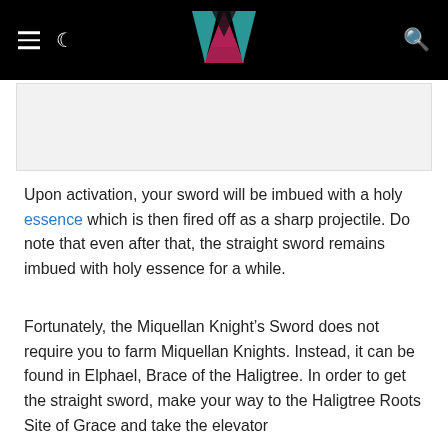Navigation header with hamburger menu, moon icon, logo, and search icon
[Figure (other): Light gray image placeholder rectangle below the header]
Upon activation, your sword will be imbued with a holy essence which is then fired off as a sharp projectile. Do note that even after that, the straight sword remains imbued with holy essence for a while.
Fortunately, the Miquellan Knight’s Sword does not require you to farm Miquellan Knights. Instead, it can be found in Elphael, Brace of the Haligtree. In order to get the straight sword, make your way to the Haligtree Roots Site of Grace and take the elevator